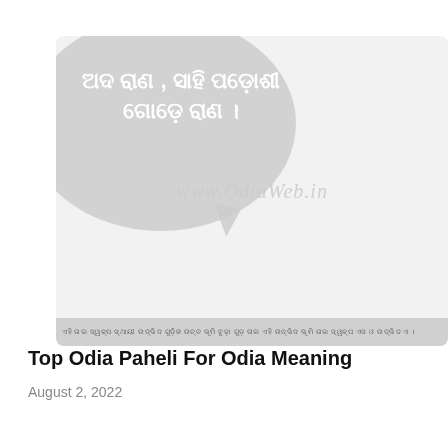[Figure (illustration): A light gray image featuring a speech bubble with Odia script text, a watermark reading 'www.OdiaWeb.in', and a bottom banner strip with Odia script text.]
Top Odia Paheli For Odia Meaning
August 2, 2022